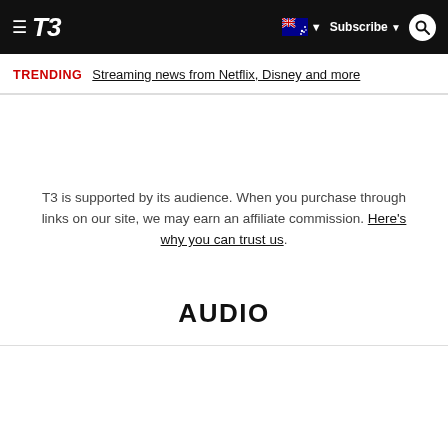T3 — Subscribe | Search | Australia flag
TRENDING   Streaming news from Netflix, Disney and more
T3 is supported by its audience. When you purchase through links on our site, we may earn an affiliate commission. Here's why you can trust us.
AUDIO